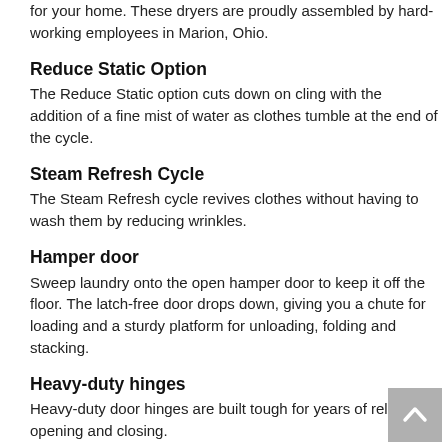for your home. These dryers are proudly assembled by hard-working employees in Marion, Ohio.
Reduce Static Option
The Reduce Static option cuts down on cling with the addition of a fine mist of water as clothes tumble at the end of the cycle.
Steam Refresh Cycle
The Steam Refresh cycle revives clothes without having to wash them by reducing wrinkles.
Hamper door
Sweep laundry onto the open hamper door to keep it off the floor. The latch-free door drops down, giving you a chute for loading and a sturdy platform for unloading, folding and stacking.
Heavy-duty hinges
Heavy-duty door hinges are built tough for years of reliable opening and closing.
Wrinkle Control Cycle
The Wrinkle Control cycle uses lower temperatures